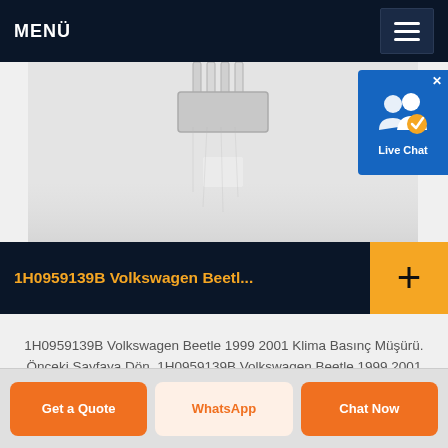MENÜ
[Figure (photo): Auto part product image showing what appears to be a connector or electrical component against a light gray background]
[Figure (other): Live Chat widget button with icon showing two person silhouettes with a checkmark]
1H0959139B Volkswagen Beetl...
1H0959139B Volkswagen Beetle 1999 2001 Klima Basınç Müşürü. Önceki Sayfaya Dön. 1H0959139B Volkswagen Beetle 1999 2001 Klima ...
Get a Quote | WhatsApp | Chat Now